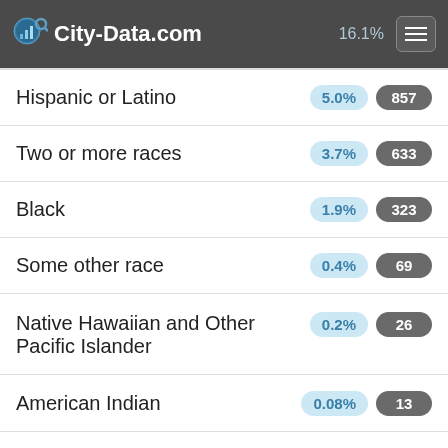City-Data.com  16.1%
Hispanic or Latino  5.0%  857
Two or more races  3.7%  633
Black  1.9%  323
Some other race  0.4%  69
Native Hawaiian and Other Pacific Islander  0.2%  26
American Indian  0.08%  13
[Figure (other): Advertisement for New York Film Academy: Want to Create Your Own Films? Learn Filmmaking, Cinematography, Producing & more in an Online Workshop at NYFA. New York Film Academy. Learn More button.]